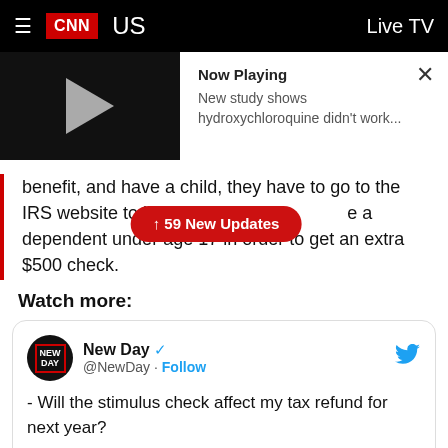CNN US  Live TV
[Figure (screenshot): Video player thumbnail with play button and Now Playing panel showing 'New study shows hydroxychloroquine didn't work...' with close X button]
benefit, and have a child, they have to go to the IRS website to let th[e IRS know they hav]e a dependent under age 17 in order to get an extra $500 check.
↑ 59 New Updates
Watch more:
New Day @NewDay · Follow
- Will the stimulus check affect my tax refund for next year?
- Can my employer legally lower my weekly